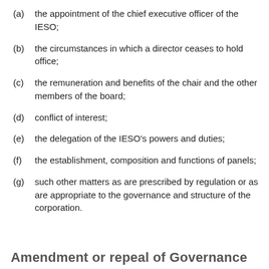(a)  the appointment of the chief executive officer of the IESO;
(b)  the circumstances in which a director ceases to hold office;
(c)  the remuneration and benefits of the chair and the other members of the board;
(d)  conflict of interest;
(e)  the delegation of the IESO's powers and duties;
(f)  the establishment, composition and functions of panels;
(g)  such other matters as are prescribed by regulation or as are appropriate to the governance and structure of the corporation.
Amendment or repeal of Governance...